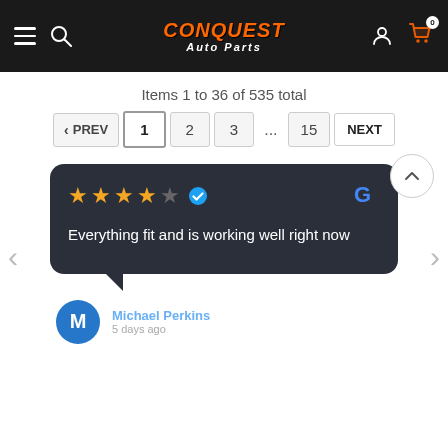Conquest Auto Parts
Items 1 to 36 of 535 total
< PREV  1  2  3  ...  15  NEXT
Everything fit and is working well right now
Michael Perkins
5 days ago